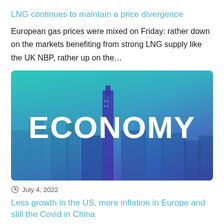LNG continues to maintain a price divergence
European gas prices were mixed on Friday: rather down on the markets benefiting from strong LNG supply like the UK NBP, rather up on the…
[Figure (photo): Economy banner image showing a city skyline with a teal-to-purple gradient overlay and the word ECONOMY in large white bold text]
July 4, 2022
Less growth in the US, more inflation in Europe and still the Covid in China